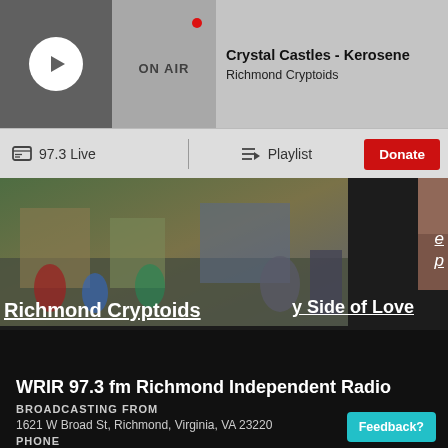Crystal Castles - Kerosene
Richmond Cryptoids
ON AIR
97.3 Live
Playlist
Donate
[Figure (screenshot): Colorful street scene photo - Richmond Cryptoids thumbnail]
Richmond Cryptoids
[Figure (photo): Blurry photo with LOVE text - album art thumbnail]
y Side of Love
ep
WRIR 97.3 fm Richmond Independent Radio
BROADCASTING FROM
1621 W Broad St, Richmond, Virginia, VA 23220
PHONE
Main: 804 622 WRIR (9747)
Feedback?